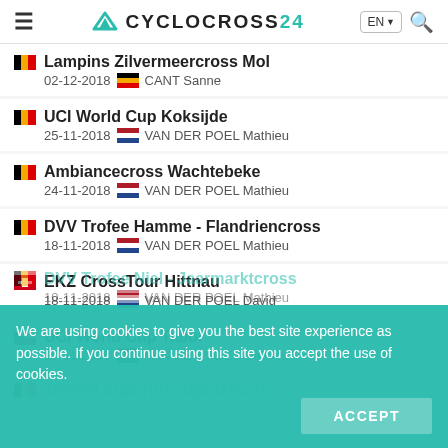CYCLOCROSS24 EN Search
Lampins Zilvermeercross Mol | 02-12-2018 | CANT Sanne
UCI World Cup Koksijde | 25-11-2018 | VAN DER POEL Mathieu
Ambiancecross Wachtebeke | 24-11-2018 | VAN DER POEL Mathieu
DVV Trofee Hamme - Flandriencross | 18-11-2018 | VAN DER POEL Mathieu
EKZ CrossTour Hittnau | 18-11-2018 | VAN DER POEL David
UCI World Cup Tabor | 17-11-2018 | VAN DER POEL Mathieu
Telenet Superprestige Gavere
DVV Trofee Niel - Jaarmarktcross | 10-11-2018 | VAN DER POEL Mathieu
DVV Trofee Niel - Jaarmarktcross
We are using cookies to give you the best site experience as possible. If you continue using this site you accept the use of cookies. ACCEPT